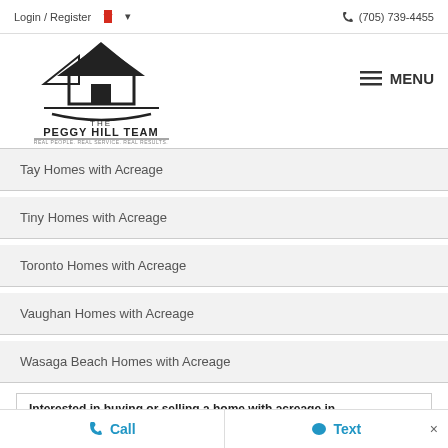Login / Register  🇨🇦  ▾     (705) 739-4455
[Figure (logo): The Peggy Hill Team logo — house icon above the text 'THE PEGGY HILL TEAM' with tagline 'REAL PEOPLE. REAL SERVICE. REAL RESULTS.']
Tay Homes with Acreage
Tiny Homes with Acreage
Toronto Homes with Acreage
Vaughan Homes with Acreage
Wasaga Beach Homes with Acreage
Interested in buying or selling a home with acreage in
more, Ontario? Contact Peggy Hill Group Realty
Call   Text   ×